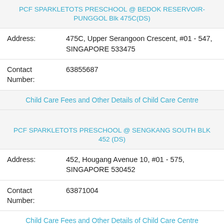PCF SPARKLETOTS PRESCHOOL @ BEDOK RESERVOIR-PUNGGOL Blk 475C(DS)
Address: 475C, Upper Serangoon Crescent, #01 - 547, SINGAPORE 533475
Contact Number: 63855687
Child Care Fees and Other Details of Child Care Centre
PCF SPARKLETOTS PRESCHOOL @ SENGKANG SOUTH BLK 452 (DS)
Address: 452, Hougang Avenue 10, #01 - 575, SINGAPORE 530452
Contact Number: 63871004
Child Care Fees and Other Details of Child Care Centre
PCF SPARKLETOTS PRESCHOOL @ ...